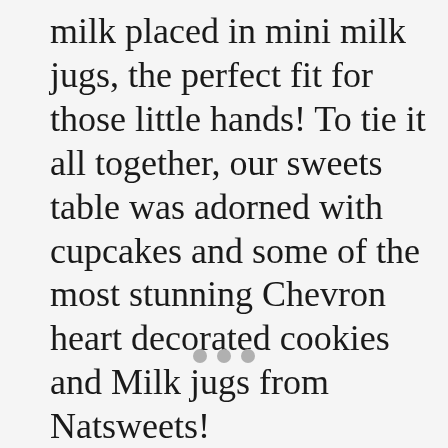milk placed in mini milk jugs, the perfect fit for those little hands! To tie it all together, our sweets table was adorned with cupcakes and some of the most stunning Chevron heart decorated cookies and Milk jugs from Natsweets!
[Figure (other): Three grey dots indicating a pagination or slideshow indicator]